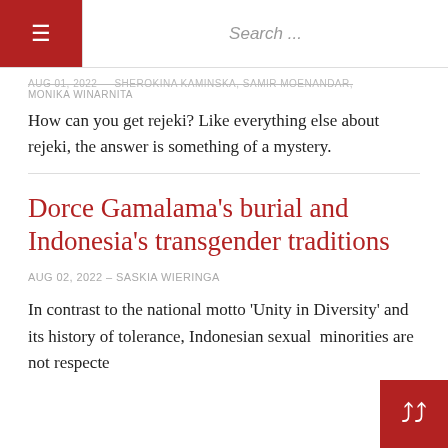≡  Search ...
Aug 01, 2022 — SHEROKINA KAMINSKA, SAMIR MOENANDAR, MONIKA WINARNITA
How can you get rejeki? Like everything else about rejeki, the answer is something of a mystery.
Dorce Gamalama's burial and Indonesia's transgender traditions
Aug 02, 2022 – SASKIA WIERINGA
In contrast to the national motto 'Unity in Diversity' and its history of tolerance, Indonesian sexual  minorities are not respected